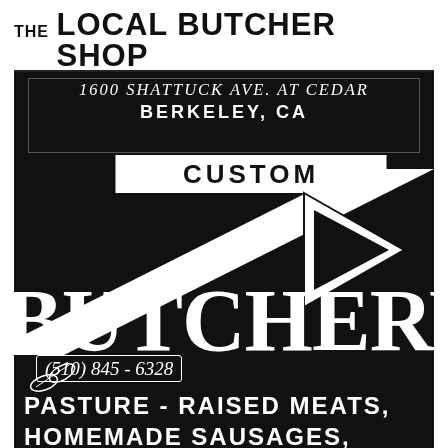THE LOCAL BUTCHER SHOP
1600 SHATTUCK AVE. AT CEDAR
BERKELEY, CA
[Figure (illustration): Custom Cut Butchery banner with diagonal ribbon design on black background]
(510) 845-6328
PASTURE-RAISED MEATS, HOMEMADE SAUSAGES,